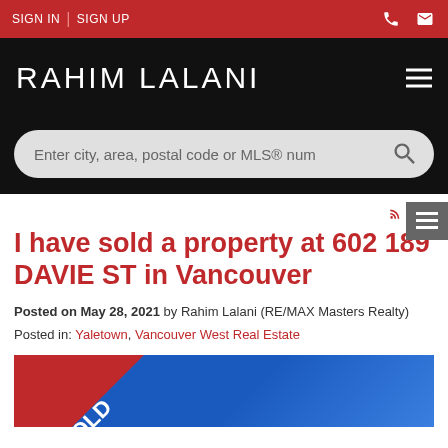SIGN IN | SIGN UP
RAHIM LALANI
Enter city, area, postal code or MLS® num
RSS
I have sold a property at 602 189 DAVIE ST in Vancouver
Posted on May 28, 2021 by Rahim Lalani (RE/MAX Masters Realty)
Posted in: Yaletown, Vancouver West Real Estate
[Figure (photo): Property image with SOLD ribbon banner in red and blue background]